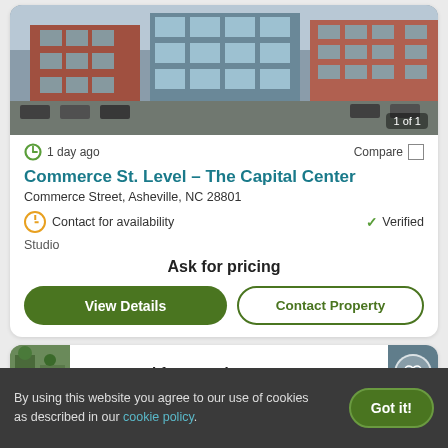[Figure (photo): Aerial/street view photo of a multi-story brick commercial building, The Capital Center, Asheville NC. Image counter shows '1 of 1'.]
1 day ago
Compare
Commerce St. Level – The Capital Center
Commerce Street, Asheville, NC 28801
Contact for availability
Verified
Studio
Ask for pricing
View Details
Contact Property
Top Rated for Location
By using this website you agree to our use of cookies as described in our cookie policy.
Got it!